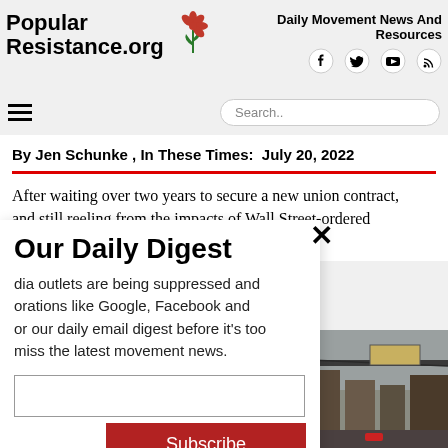Popular Resistance.org
Daily Movement News And Resources
By Jen Schunke , In These Times:  July 20, 2022
After waiting over two years to secure a new union contract, and still reeling from the impacts of Wall Street-ordered ... red workers [...]
Our Daily Digest
dia outlets are being suppressed and orations like Google, Facebook and or our daily email digest before it's too miss the latest movement news.
[Figure (photo): Urban street scene with overhead structure and billboard, gloomy weather]